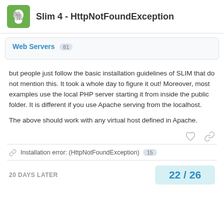Slim 4 - HttpNotFoundException
Web Servers 81
but people just follow the basic installation guidelines of SLIM that do not mention this. It took a whole day to figure it out! Moreover, most examples use the local PHP server starting it from inside the public folder. It is different if you use Apache serving from the localhost.

The above should work with any virtual host defined in Apache.
Installation error: (HttpNotFoundException) 15
20 DAYS LATER
22 / 26